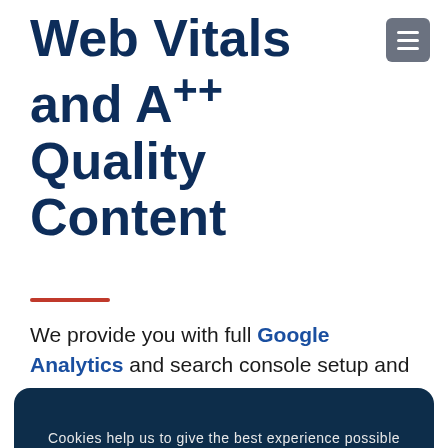Web Vitals and A++ Quality Content
We provide you with full Google Analytics and search console setup and optimise it for
Cookies help us to give the best experience possible and help us understand how visitors use our website.
Looking for the whole package? Our SEO